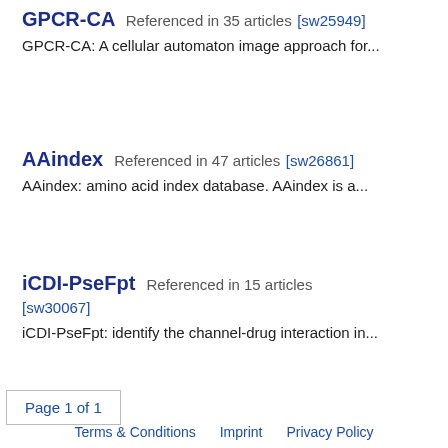GPCR-CA  Referenced in 35 articles [sw25949]
GPCR-CA: A cellular automaton image approach for...
AAindex  Referenced in 47 articles [sw26861]
AAindex: amino acid index database. AAindex is a...
iCDI-PseFpt  Referenced in 15 articles [sw30067]
iCDI-PseFpt: identify the channel-drug interaction in...
Page 1 of 1
Terms & Conditions    Imprint    Privacy Policy